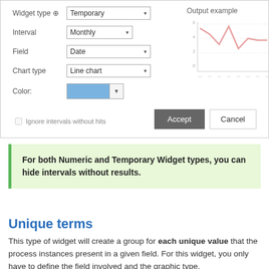[Figure (screenshot): Widget configuration form with fields: Widget type (Temporary), Interval (Monthly), Field (Date), Chart type (Line chart), Color (blue swatch), and an output example showing a line chart preview. Buttons: Accept and Cancel.]
Ignore intervals without hits
For both Numeric and Temporary Widget types, you can hide intervals without results.
Unique terms
This type of widget will create a group for each unique value that the process instances present in a given field. For this widget, you only have to define the field involved and the graphic type.